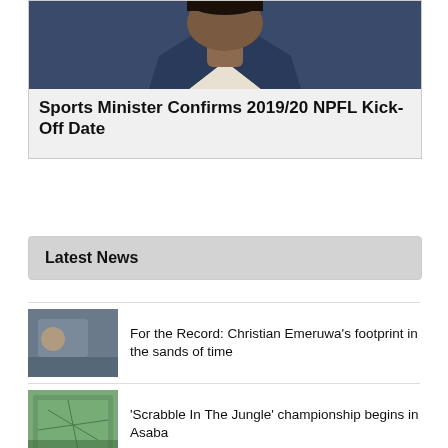[Figure (photo): Photo of a man in a suit (Sports Minister), cropped to show face and shoulders]
Sports Minister Confirms 2019/20 NPFL Kick-Off Date
Latest News
For the Record: Christian Emeruwa's footprint in the sands of time
'Scrabble In The Jungle' championship begins in Asaba
Ese Brume gets chance to make Diamond League history
I can't wait to play against Liverpool — Awoniyi